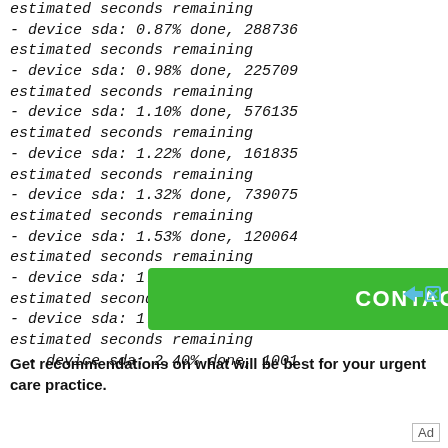estimated seconds remaining
- device sda: 0.87% done, 288736 estimated seconds remaining
- device sda: 0.98% done, 225709 estimated seconds remaining
- device sda: 1.10% done, 576135 estimated seconds remaining
- device sda: 1.22% done, 161835 estimated seconds remaining
- device sda: 1.32% done, 739075 estimated seconds remaining
- device sda: 1.53% done, 120064 estimated seconds remaining
- device sda: 1.71% done, 257668 estimated seconds remaining
- device sda: 1.84% done, 257310 estimated seconds remaining
- device sda: 2.40% done, 1001...
[Figure (other): Green CONTACT US advertisement banner with close/forward icons]
Get recommendations on what will be best for your urgent care practice.
Ad